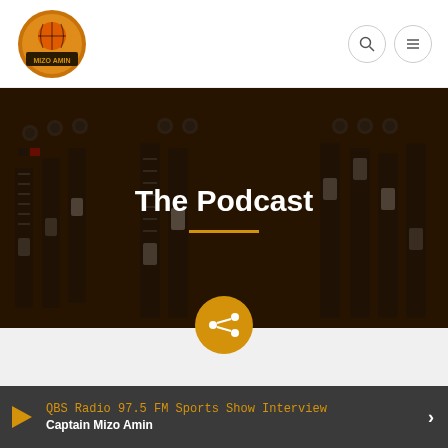[Figure (logo): Mizo Amin basketball logo - circular badge with basketball and text]
[Figure (photo): Dark overhead photo of a radio mixing board/audio console with faders and sliders, overlaid with dark brown tint]
The Podcast
[Figure (other): Golden/orange circular share button with share icon in the center]
QBS Radio 97.5 FM Sports Show Interview
Captain Mizo Amin